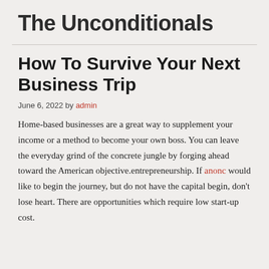The Unconditionals
How To Survive Your Next Business Trip
June 6, 2022 by admin
Home-based businesses are a great way to supplement your income or a method to become your own boss. You can leave the everyday grind of the concrete jungle by forging ahead toward the American objective.entrepreneurship. If Ð°Ð½Ð¾Ð½Ñ would like to begin the journey, but do not have the capital begin, don’t lose heart. There are opportunities which require low start-up cost.